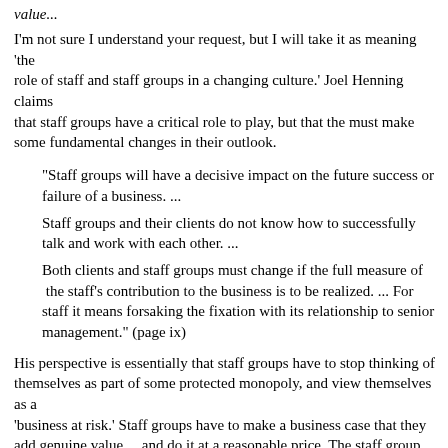value...
I'm not sure I understand your request, but I will take it as meaning 'the role of staff and staff groups in a changing culture.' Joel Henning claims that staff groups have a critical role to play, but that the must make some fundamental changes in their outlook.
"Staff groups will have a decisive impact on the future success or failure of a business. ... Staff groups and their clients do not know how to successfully talk and work with each other. ... Both clients and staff groups must change if the full measure of the staff's contribution to the business is to be realized. ... For staff it means forsaking the fixation with its relationship to senior management." (page ix)
His perspective is essentially that staff groups have to stop thinking of themselves as part of some protected monopoly, and view themselves as a 'business at risk.' Staff groups have to make a business case that they add genuine value ... and do it at a reasonable price. The staff group